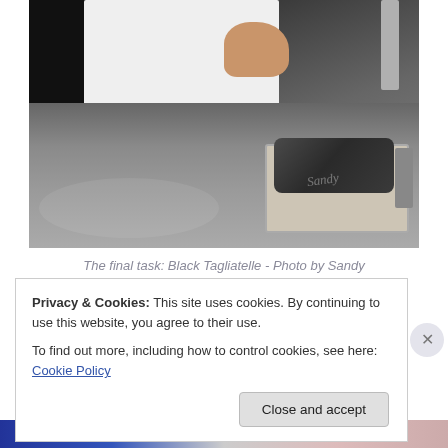[Figure (photo): A chef in a white coat working at a flour-dusted counter, with dough on a kitchen scale. The image is signed by Sandy.]
The final task: Black Tagliatelle - Photo by Sandy
Privacy & Cookies: This site uses cookies. By continuing to use this website, you agree to their use.
To find out more, including how to control cookies, see here: Cookie Policy
Close and accept